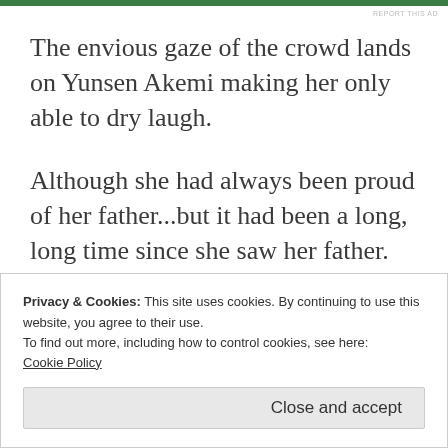REPORT THIS AD
The envious gaze of the crowd lands on Yunsen Akemi making her only able to dry laugh.
Although she had always been proud of her father...but it had been a long, long time since she saw her father.
Sometimes, she almost forgot how her father looks like....which makes her slightly afraid.
Privacy & Cookies: This site uses cookies. By continuing to use this website, you agree to their use.
To find out more, including how to control cookies, see here:
Cookie Policy
Close and accept